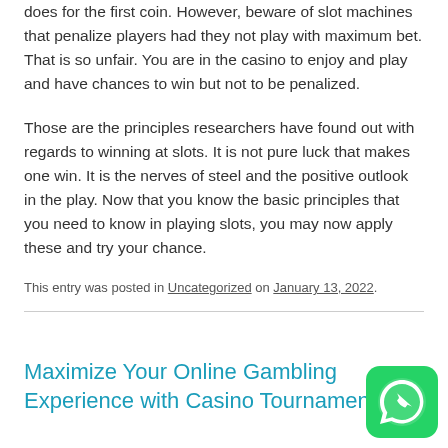does for the first coin. However, beware of slot machines that penalize players had they not play with maximum bet. That is so unfair. You are in the casino to enjoy and play and have chances to win but not to be penalized.
Those are the principles researchers have found out with regards to winning at slots. It is not pure luck that makes one win. It is the nerves of steel and the positive outlook in the play. Now that you know the basic principles that you need to know in playing slots, you may now apply these and try your chance.
This entry was posted in Uncategorized on January 13, 2022.
Maximize Your Online Gambling Experience with Casino Tournament...